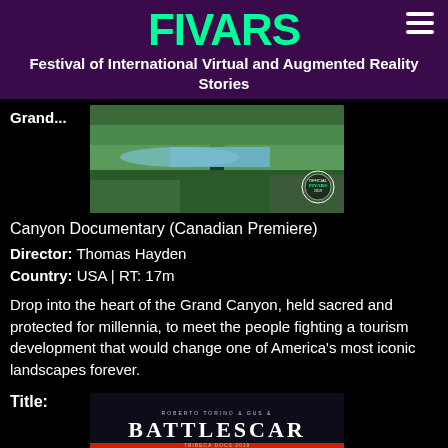FIVARS - Festival of International Virtual and Augmented Reality Stories
[Figure (photo): VR Documentary film still showing a river canyon landscape with green vegetation, labeled 'VR DOCUMENTARY' at top, with FIVARS award badge in bottom right corner]
Canyon Documentary (Canadian Premiere)
Director: Thomas Hayden
Country: USA | RT: 17m
Drop into the heart of the Grand Canyon, held sacred and protected for millennia, to meet the people fighting a tourism development that would change one of America's most iconic landscapes forever.
Title:
[Figure (photo): Movie title card for BATTLESCAR showing stylized white text on dark background with a red-hooded figure at bottom]